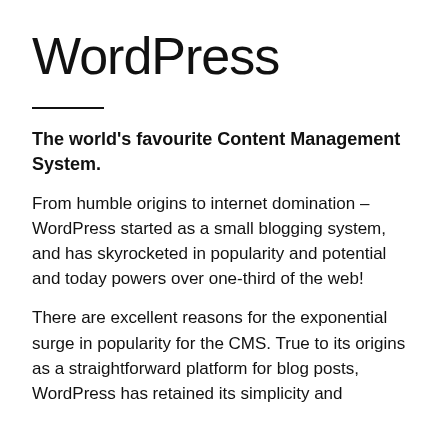WordPress
The world’s favourite Content Management System.
From humble origins to internet domination – WordPress started as a small blogging system, and has skyrocketed in popularity and potential and today powers over one-third of the web!
There are excellent reasons for the exponential surge in popularity for the CMS. True to its origins as a straightforward platform for blog posts, WordPress has retained its simplicity and